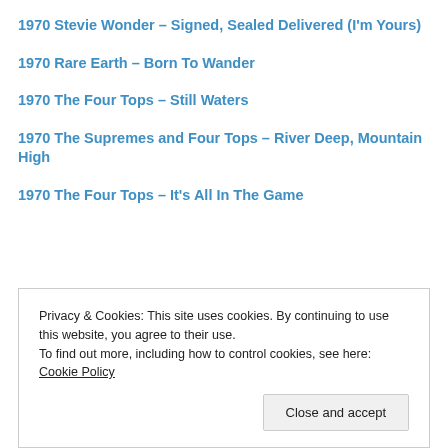1970 Stevie Wonder – Signed, Sealed Delivered (I'm Yours)
1970 Rare Earth – Born To Wander
1970 The Four Tops – Still Waters
1970 The Supremes and Four Tops – River Deep, Mountain High
1970 The Four Tops – It's All In The Game
Privacy & Cookies: This site uses cookies. By continuing to use this website, you agree to their use. To find out more, including how to control cookies, see here: Cookie Policy
1970 Gladys Knight and the Pips – If I Were Your